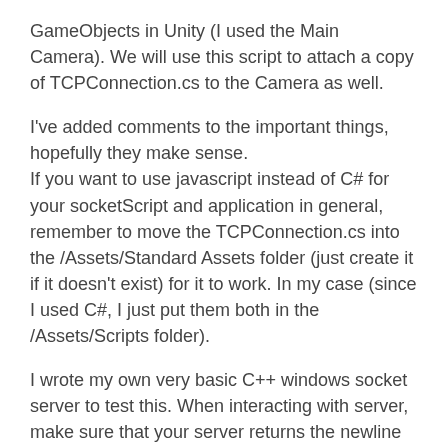GameObjects in Unity (I used the Main Camera). We will use this script to attach a copy of TCPConnection.cs to the Camera as well.
I've added comments to the important things, hopefully they make sense.
If you want to use javascript instead of C# for your socketScript and application in general, remember to move the TCPConnection.cs into the /Assets/Standard Assets folder (just create it if it doesn't exist) for it to work. In my case (since I used C#, I just put them both in the /Assets/Scripts folder).
I wrote my own very basic C++ windows socket server to test this. When interacting with server, make sure that your server returns the newline command after every response, otherwise your unity client will be left to hang (until the server disconnects). For our server